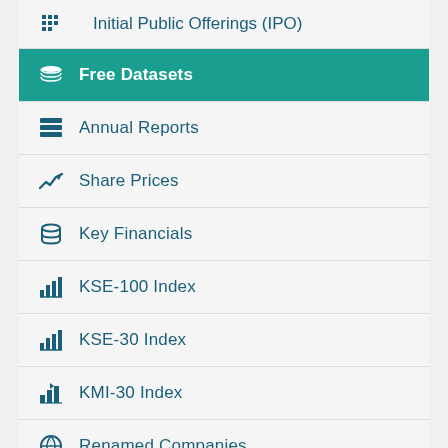Initial Public Offerings (IPO)
Free Datasets
Annual Reports
Share Prices
Key Financials
KSE-100 Index
KSE-30 Index
KMI-30 Index
Renamed Companies
Delisted Companies